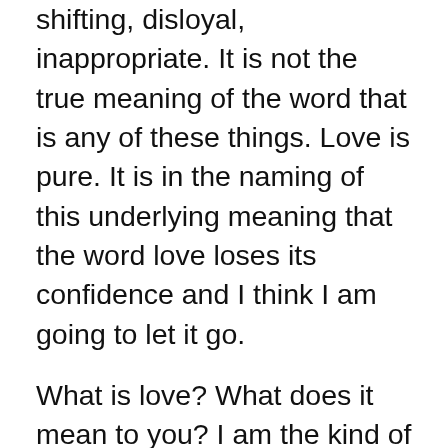shifting, disloyal, inappropriate. It is not the true meaning of the word that is any of these things. Love is pure. It is in the naming of this underlying meaning that the word love loses its confidence and I think I am going to let it go.
What is love? What does it mean to you? I am the kind of person who pretty much loves everyone. Some people I love more than others. To these others, it means I care deeply and will make active choices to support their best lives. As far as I know that's all. Ok, throw in some loyalty, honesty, kindness – but these things are beginning to describe themselves. They may be a part of love. I suppose love is a feeling but it is also a choice because feelings fluctuate. When I love someone, especially dearly, I make a choice to care for their life.
What is in love? I suppose that is a feeling, too, but